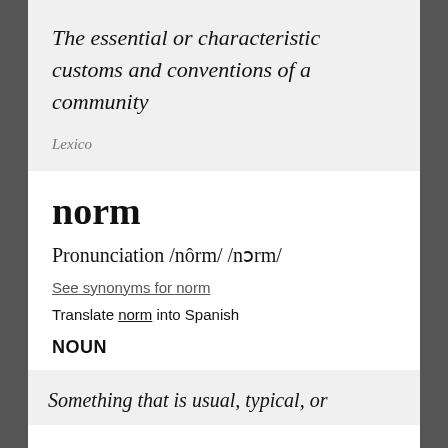The essential or characteristic customs and conventions of a community
Lexico
norm
Pronunciation /nôrm/ /nɔrm/
See synonyms for norm
Translate norm into Spanish
NOUN
Something that is usual, typical, or